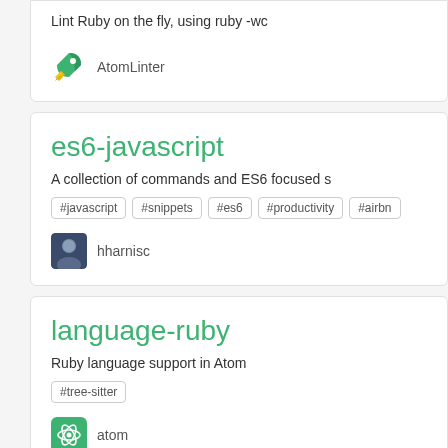Lint Ruby on the fly, using ruby -wc
AtomLinter
es6-javascript
A collection of commands and ES6 focused s
#javascript
#snippets
#es6
#productivity
#airbn
hharnisc
language-ruby
Ruby language support in Atom
#tree-sitter
atom